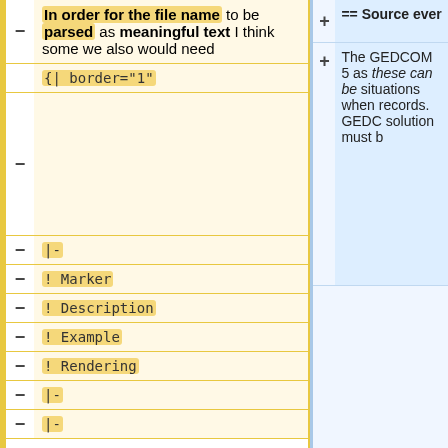In order for the file name to be parsed as meaningful text I think some we also would need
{| border="1"
|-
! Marker
! Description
! Example
! Rendering
|-
== Source ever
The GEDCOM 5 as these can be situations when records. GEDC solution must b